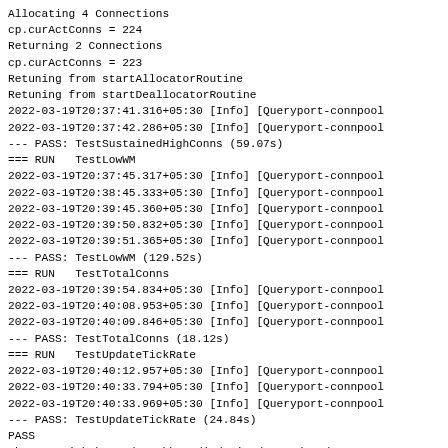Allocating 4 Connections
cp.curActConns = 224
Returning 2 Connections
cp.curActConns = 223
Retuning from startAllocatorRoutine
Retuning from startDeallocatorRoutine
2022-03-19T20:37:41.316+05:30 [Info] [Queryport-connpool
2022-03-19T20:37:42.286+05:30 [Info] [Queryport-connpool
--- PASS: TestSustainedHighConns (59.07s)
=== RUN   TestLowWM
2022-03-19T20:37:45.317+05:30 [Info] [Queryport-connpool
2022-03-19T20:38:45.333+05:30 [Info] [Queryport-connpool
2022-03-19T20:39:45.360+05:30 [Info] [Queryport-connpool
2022-03-19T20:39:50.832+05:30 [Info] [Queryport-connpool
2022-03-19T20:39:51.365+05:30 [Info] [Queryport-connpool
--- PASS: TestLowWM (129.52s)
=== RUN   TestTotalConns
2022-03-19T20:39:54.834+05:30 [Info] [Queryport-connpool
2022-03-19T20:40:08.953+05:30 [Info] [Queryport-connpool
2022-03-19T20:40:09.846+05:30 [Info] [Queryport-connpool
--- PASS: TestTotalConns (18.12s)
=== RUN   TestUpdateTickRate
2022-03-19T20:40:12.957+05:30 [Info] [Queryport-connpool
2022-03-19T20:40:33.794+05:30 [Info] [Queryport-connpool
2022-03-19T20:40:33.969+05:30 [Info] [Queryport-connpool
--- PASS: TestUpdateTickRate (24.84s)
PASS
ok      github.com/couchbase/indexing/secondary/queryport
Starting server: attempt 1